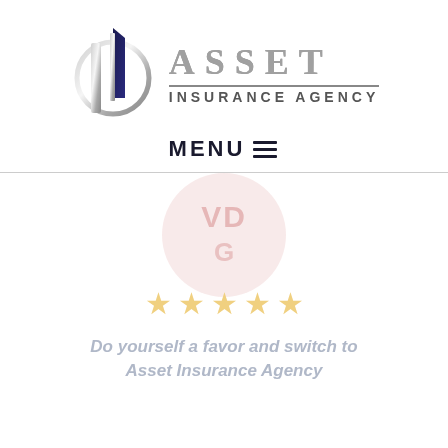[Figure (logo): Asset Insurance Agency logo with stylized building/shield icon in navy and silver on the left, and 'ASSET INSURANCE AGENCY' text in silver/gray on the right]
MENU ≡
[Figure (illustration): Circular watermark with 'VDG' letters in a faded pink/rose color]
[Figure (illustration): Five gold/yellow star rating icons]
Do yourself a favor and switch to Asset Insurance Agency